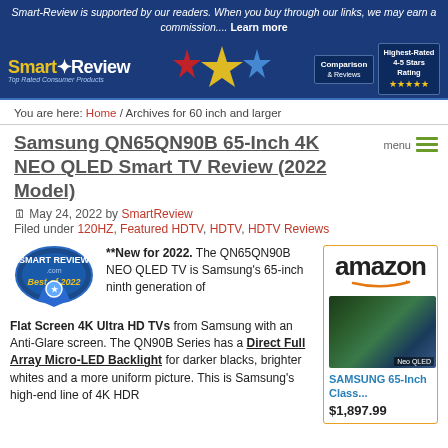Smart-Review is supported by our readers. When you buy through our links, we may earn a commission.... Learn more
[Figure (logo): Smart-Review website header banner with logo, colorful star graphic, Comparison & Reviews badge, and Highest-Rated 4-5 Stars Rating badge]
You are here: Home / Archives for 60 inch and larger
Samsung QN65QN90B 65-Inch 4K NEO QLED Smart TV Review (2022 Model)
May 24, 2022 by SmartReview
Filed under 120HZ, Featured HDTV, HDTV, HDTV Reviews
[Figure (illustration): Smart-Review Best of 2022 award badge (blue ribbon)]
**New for 2022. The QN65QN90B NEO QLED TV is Samsung's 65-inch ninth generation of Flat Screen 4K Ultra HD TVs from Samsung with an Anti-Glare screen. The QN90B Series has a Direct Full Array Micro-LED Backlight for darker blacks, brighter whites and a more uniform picture. This is Samsung's high-end line of 4K HDR
[Figure (photo): Amazon product listing for SAMSUNG 65-Inch Class NEO QLED TV showing colorful display screen, priced at $1,897.99]